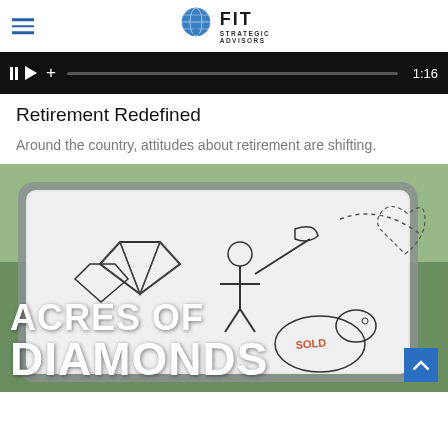FIT STRATEGIC ADVISORS
[Figure (screenshot): Video player control bar showing pause, play, add buttons, a progress bar, and timestamp 1:16 on dark background]
Retirement Redefined
Around the country, attitudes about retirement are shifting.
[Figure (photo): A tablet being held showing hand-drawn illustrations of diamonds, a miner, an elephant with SOLD sign, and other sketches. Large bold white text overlay reads ACRES OF DIAMONDS. A blue back-to-top button is in the lower right corner.]